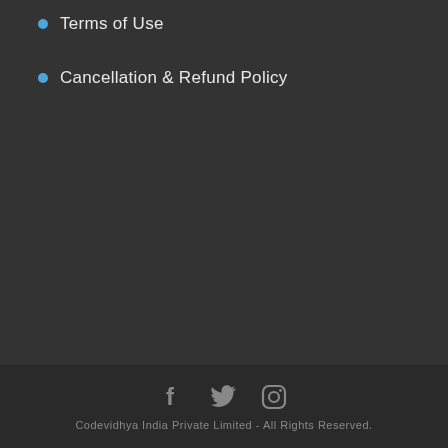Terms of Use
Cancellation & Refund Policy
[Figure (other): Social media icons: Facebook, Twitter, Instagram]
Codevidhya India Private Limited - All Rights Reserved.